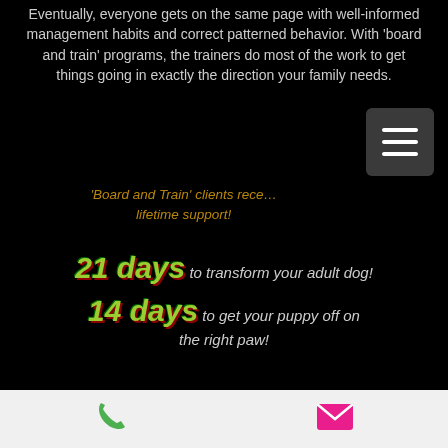Eventually, everyone gets on the same page with well-informed management habits and correct patterned behavior. With 'board and train' programs, the trainers do most of the work to get things going in exactly the direction your family needs.
'Board and Train' clients receive lifetime support!
21 days to transform your adult dog!
14 days to get your puppy off on the right paw!
[Figure (other): Footer bar with green phone icon and pink/magenta envelope/mail icon]